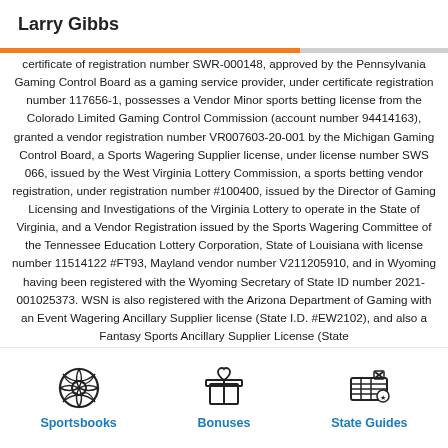Larry Gibbs
certificate of registration number SWR-000148, approved by the Pennsylvania Gaming Control Board as a gaming service provider, under certificate registration number 117656-1, possesses a Vendor Minor sports betting license from the Colorado Limited Gaming Control Commission (account number 94414163), granted a vendor registration number VR007603-20-001 by the Michigan Gaming Control Board, a Sports Wagering Supplier license, under license number SWS 066, issued by the West Virginia Lottery Commission, a sports betting vendor registration, under registration number #100400, issued by the Director of Gaming Licensing and Investigations of the Virginia Lottery to operate in the State of Virginia, and a Vendor Registration issued by the Sports Wagering Committee of the Tennessee Education Lottery Corporation, State of Louisiana with license number 11514122 #FT93, Mayland vendor number V211205910, and in Wyoming having been registered with the Wyoming Secretary of State ID number 2021-001025373. WSN is also registered with the Arizona Department of Gaming with an Event Wagering Ancillary Supplier license (State I.D. #EW2102), and also a Fantasy Sports Ancillary Supplier License (State
Sportsbooks | Bonuses | State Guides